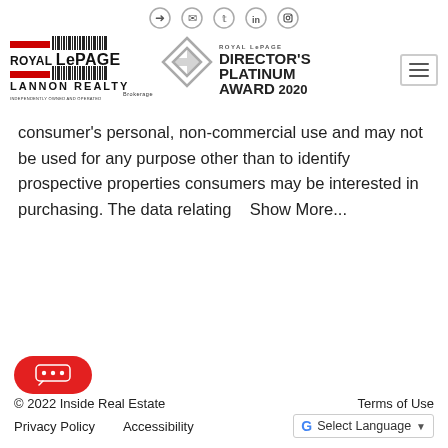[Figure (logo): Navigation icons row: login arrow, email, Twitter, LinkedIn, Instagram]
[Figure (logo): Royal LePage Lannon Realty logo with red bars and barcode-style lines, and Director's Platinum Award 2020 logo with diamond arrow shape]
consumer's personal, non-commercial use and may not be used for any purpose other than to identify prospective properties consumers may be interested in purchasing. The data relating    Show More...
© 2022 Inside Real Estate    Terms of Use
Privacy Policy    Accessibility    [Google] Select Language ▼